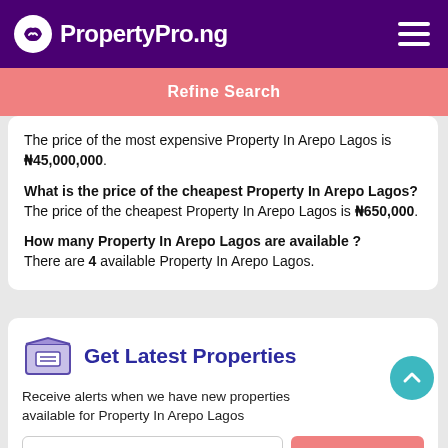PropertyPro.ng
Refine Search
The price of the most expensive Property In Arepo Lagos is ₦45,000,000.

What is the price of the cheapest Property In Arepo Lagos? The price of the cheapest Property In Arepo Lagos is ₦650,000.

How many Property In Arepo Lagos are available ? There are 4 available Property In Arepo Lagos.
Get Latest Properties
Receive alerts when we have new properties available for Property In Arepo Lagos
Enter your Name